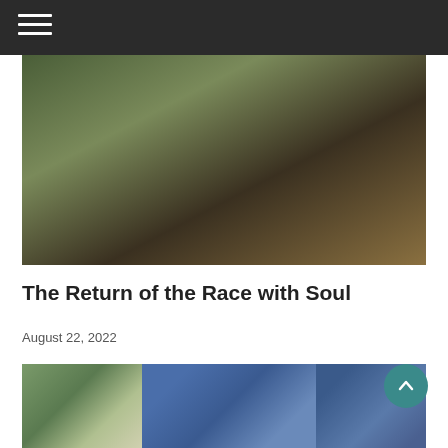Navigation menu bar
[Figure (photo): Mountain biker riding downhill on a dirt trail through green and golden-brown vegetation]
The Return of the Race with Soul
August 22, 2022
[Figure (photo): Two-panel sports photograph: left panel shows a cricket player batting; right panel shows a group of women in blue and green sports uniforms posing together at a stadium with IES branding visible]